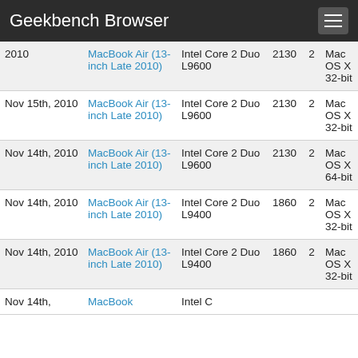Geekbench Browser
| Date | Device | CPU | Score | Cores | OS |
| --- | --- | --- | --- | --- | --- |
| 2010 | MacBook Air (13-inch Late 2010) | Intel Core 2 Duo L9600 | 2130 | 2 | Mac OS X 32-bit |
| Nov 15th, 2010 | MacBook Air (13-inch Late 2010) | Intel Core 2 Duo L9600 | 2130 | 2 | Mac OS X 32-bit |
| Nov 14th, 2010 | MacBook Air (13-inch Late 2010) | Intel Core 2 Duo L9600 | 2130 | 2 | Mac OS X 64-bit |
| Nov 14th, 2010 | MacBook Air (13-inch Late 2010) | Intel Core 2 Duo L9400 | 1860 | 2 | Mac OS X 32-bit |
| Nov 14th, 2010 | MacBook Air (13-inch Late 2010) | Intel Core 2 Duo L9400 | 1860 | 2 | Mac OS X 32-bit |
| Nov 14th, | MacBook | Intel C... |  |  |  |